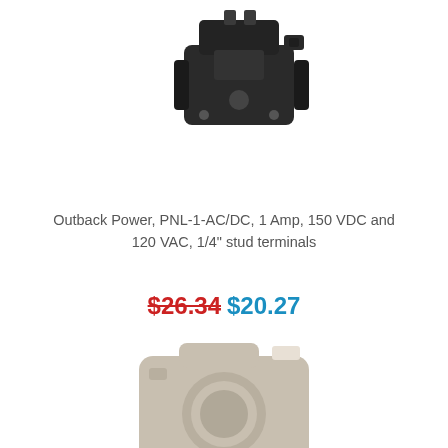[Figure (photo): Photo of Outback Power PNL-1-AC/DC circuit breaker, dark/black colored device with mounting hardware]
Outback Power, PNL-1-AC/DC, 1 Amp, 150 VDC and 120 VAC, 1/4" stud terminals
$26.34 $20.27
[Figure (photo): Placeholder image showing a camera icon silhouette with the word 'image' below it, indicating a missing product image]